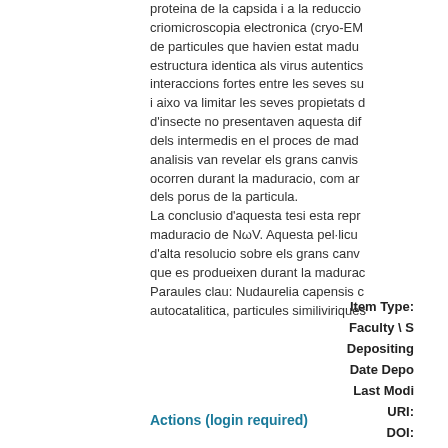proteina de la capsida i a la reduccio criomicroscopia electronica (cryo-EM de particules que havien estat madu estructura identica als virus autentics interaccions fortes entre les seves su i aixo va limitar les seves propietats d'insecte no presentaven aquesta dif dels intermedis en el proces de mad analisis van revelar els grans canvis ocorren durant la maduracio, com ar dels porus de la particula. La conclusio d'aquesta tesi esta repr maduracio de NωV. Aquesta pel·licu d'alta resolucio sobre els grans canv que es produeixen durant la madurac Paraules clau: Nudaurelia capensis autocatalitica, particules similiviriques
| Item Type: |  |
| Faculty \ S |  |
| Depositing |  |
| Date Depo |  |
| Last Modi |  |
| URI: |  |
| DOI: |  |
Actions (login required)